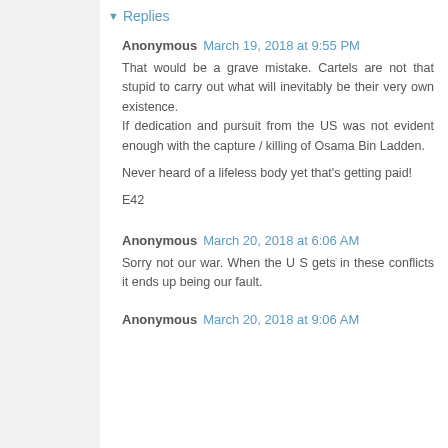Replies
Anonymous  March 19, 2018 at 9:55 PM
That would be a grave mistake. Cartels are not that stupid to carry out what will inevitably be their very own existence.
If dedication and pursuit from the US was not evident enough with the capture / killing of Osama Bin Ladden.

Never heard of a lifeless body yet that's getting paid!

E42
Anonymous  March 20, 2018 at 6:06 AM
Sorry not our war. When the U S gets in these conflicts it ends up being our fault.
Anonymous  March 20, 2018 at 9:06 AM